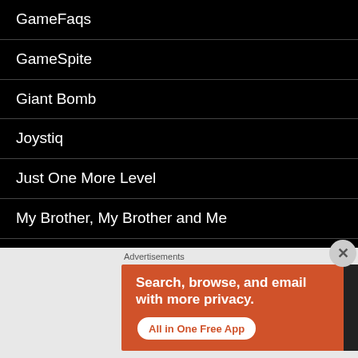GameFaqs
GameSpite
Giant Bomb
Joystiq
Just One More Level
My Brother, My Brother and Me
PS3Trophies
Seanbaby
TrueAchievements
[Figure (screenshot): DuckDuckGo advertisement banner on orange background with text 'Search, browse, and email with more privacy. All in One Free App' with phone image on dark background showing DuckDuckGo logo]